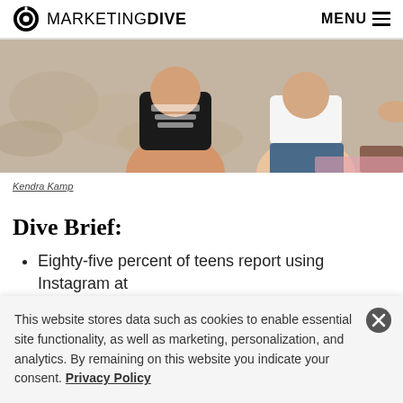MARKETING DIVE  MENU
[Figure (photo): Two young women sitting on a beach, one wearing a black t-shirt with 'Grand Forks Feminist Film Festival' text, the other in a white t-shirt and denim shorts]
Kendra Kamp
Dive Brief:
Eighty-five percent of teens report using Instagram at
This website stores data such as cookies to enable essential site functionality, as well as marketing, personalization, and analytics. By remaining on this website you indicate your consent. Privacy Policy